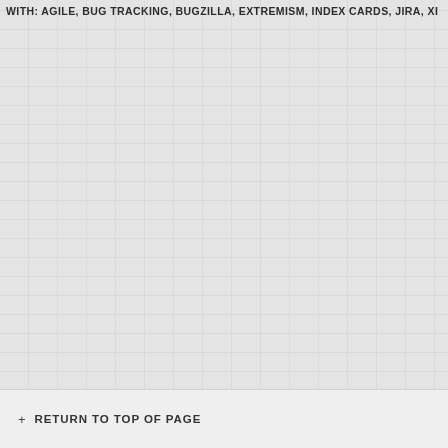WITH: AGILE, BUG TRACKING, BUGZILLA, EXTREMISM, INDEX CARDS, JIRA, XI
[Figure (other): Linen-textured light gray background filling the main content area of the page]
+ RETURN TO TOP OF PAGE